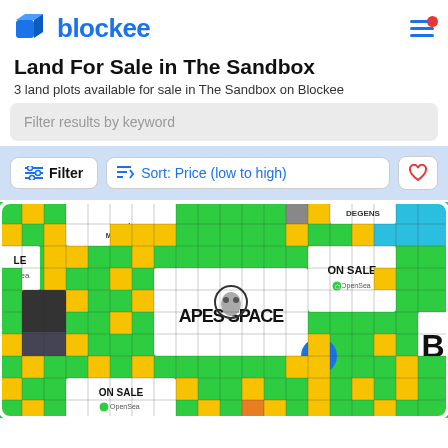blockee
Land For Sale in The Sandbox
3 land plots available for sale in The Sandbox on Blockee
Filter results by keyword
Filter  Sort: Price (low to high)
[Figure (screenshot): Colorful grid map of The Sandbox metaverse land, showing green, yellow, and white parcels. Notable labels include OMNIMORPHS, DEGENS, ON SALE at OpenSea (two instances), APES SPACE, and various colored tiles.]